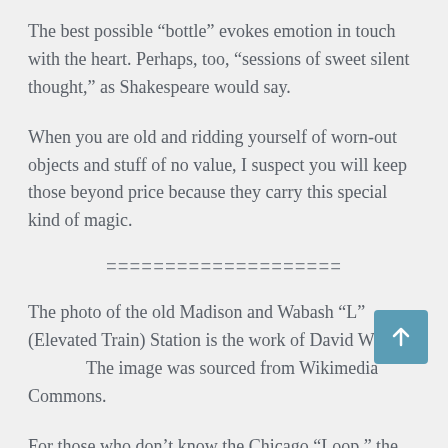The best possible “bottle” evokes emotion in touch with the heart. Perhaps, too, “sessions of sweet silent thought,” as Shakespeare would say.
When you are old and ridding yourself of worn-out objects and stuff of no value, I suspect you will keep those beyond price because they carry this special kind of magic.
====================
The photo of the old Madison and Wabash “L” (Elevated Train) Station is the work of David W… The image was sourced from Wikimedia Commons.
For those who don’t know the Chicago “Loop,” the